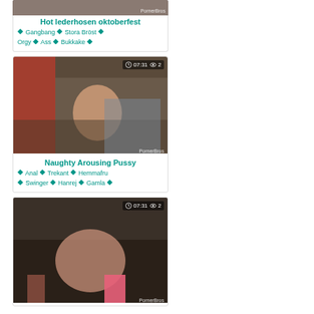[Figure (photo): Video thumbnail with PornerBros watermark, top card (partial)]
Hot lederhosen oktoberfest
Gangbang  Stora Bröst  Orgy  Ass  Bukkake
[Figure (photo): Video thumbnail 07:31, 2 views, PornerBros watermark]
Naughty Arousing Pussy
Anal  Trekant  Hemmafru  Swinger  Hanrej  Gamla
[Figure (photo): Video thumbnail 07:31, 2 views, PornerBros watermark, third card]